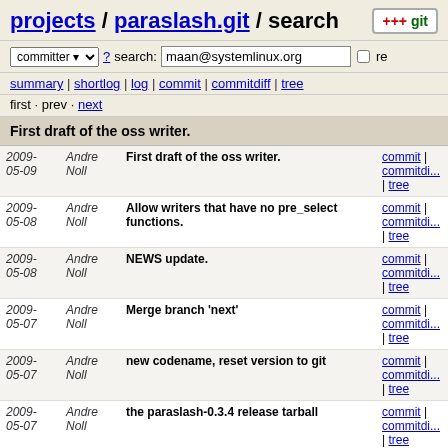projects / paraslash.git / search
committer ? search: maan@systemlinux.org re
summary | shortlog | log | commit | commitdiff | tree
first · prev · next
First draft of the oss writer.
| Date | Author | Message | Links |
| --- | --- | --- | --- |
| 2009-05-09 | Andre Noll | First draft of the oss writer. | commit | commitdiff | tree |
| 2009-05-08 | Andre Noll | Allow writers that have no pre_select functions. | commit | commitdiff | tree |
| 2009-05-08 | Andre Noll | NEWS update. | commit | commitdiff | tree |
| 2009-05-07 | Andre Noll | Merge branch 'next' | commit | commitdiff | tree |
| 2009-05-07 | Andre Noll | new codename, reset version to git | commit | commitdiff | tree |
| 2009-05-07 | Andre Noll | the paraslash-0.3.4 release tarball | commit | commitdiff | tree |
| 2009-05-07 | Andre Noll | paraslash 0.3.4 | commit | commitdiff | tree |
| 2009-05-07 | Andre Noll | Remove an overambitious sanity check in the fecdec... | commit | commitdiff | tree |
| 2009-05-07 | Andre Noll | Kill a bashism in configure.ac. | commit | commitdiff |